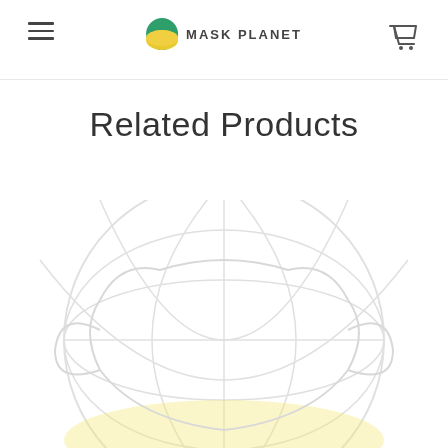MASK PLANET
Related Products
[Figure (photo): Large faded/watermark-style Mask Planet logo showing a globe icon in green and yellow tones, very light against white background, serving as a decorative product image background]